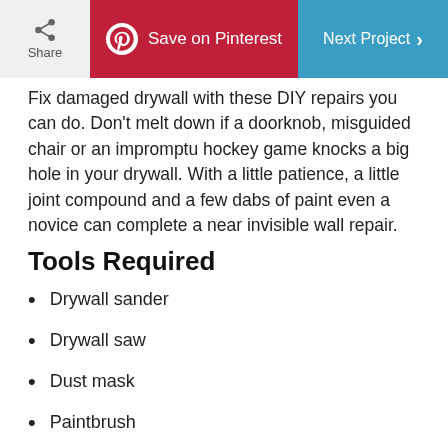Share | Save on Pinterest | Next Project
Fix damaged drywall with these DIY repairs you can do. Don't melt down if a doorknob, misguided chair or an impromptu hockey game knocks a big hole in your drywall. With a little patience, a little joint compound and a few dabs of paint even a novice can complete a near invisible wall repair.
Tools Required
Drywall sander
Drywall saw
Dust mask
Paintbrush